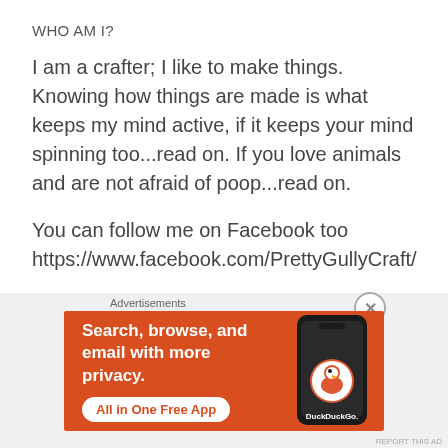WHO AM I?
I am a crafter; I like to make things. Knowing how things are made is what keeps my mind active, if it keeps your mind spinning too...read on. If you love animals and are not afraid of poop...read on.
You can follow me on Facebook too https://www.facebook.com/PrettyGullyCraft/
Or you can shop for hand made crafts from my humpy
[Figure (screenshot): DuckDuckGo advertisement banner with orange background showing 'Search, browse, and email with more privacy. All in One Free App' with DuckDuckGo logo and phone image.]